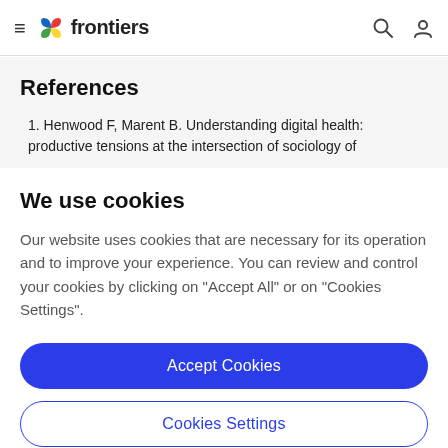frontiers
References
1. Henwood F, Marent B. Understanding digital health: productive tensions at the intersection of sociology of
We use cookies
Our website uses cookies that are necessary for its operation and to improve your experience. You can review and control your cookies by clicking on "Accept All" or on "Cookies Settings".
Accept Cookies
Cookies Settings